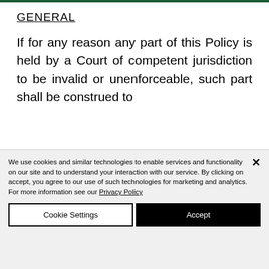GENERAL
If for any reason any part of this Policy is held by a Court of competent jurisdiction to be invalid or unenforceable, such part shall be construed to
We use cookies and similar technologies to enable services and functionality on our site and to understand your interaction with our service. By clicking on accept, you agree to our use of such technologies for marketing and analytics. For more information see our Privacy Policy
Cookie Settings
Accept